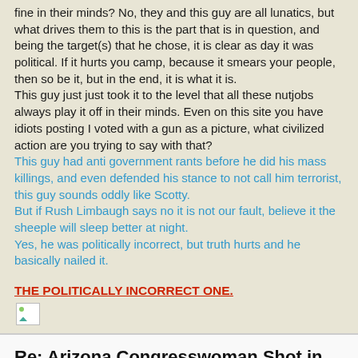fine in their minds? No, they and this guy are all lunatics, but what drives them to this is the part that is in question, and being the target(s) that he chose, it is clear as day it was political. If it hurts you camp, because it smears your people, then so be it, but in the end, it is what it is.
This guy just just took it to the level that all these nutjobs always play it off in their minds. Even on this site you have idiots posting I voted with a gun as a picture, what civilized action are you trying to say with that?
This guy had anti government rants before he did his mass killings, and even defended his stance to not call him terrorist, this guy sounds oddly like Scotty.
But if Rush Limbaugh says no it is not our fault, believe it the sheeple will sleep better at night.
Yes, he was politically incorrect, but truth hurts and he basically nailed it.
THE POLITICALLY INCORRECT ONE.
[Figure (other): Broken/missing image icon (small image placeholder with green triangle and circle)]
Re: Arizona Congresswoman Shot in Head